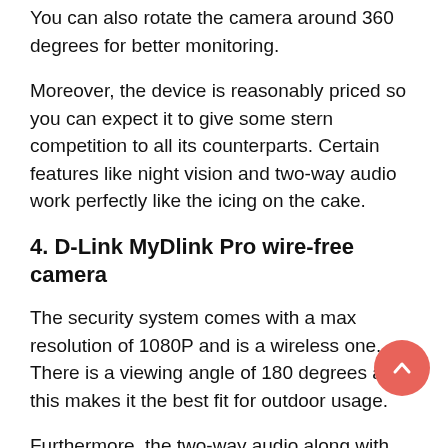You can also rotate the camera around 360 degrees for better monitoring.
Moreover, the device is reasonably priced so you can expect it to give some stern competition to all its counterparts. Certain features like night vision and two-way audio work perfectly like the icing on the cake.
4. D-Link MyDlink Pro wire-free camera
The security system comes with a max resolution of 1080P and is a wireless one. There is a viewing angle of 180 degrees and this makes it the best fit for outdoor usage.
Furthermore, the two-way audio along with the cloud door microSD or USB support makes it a standard piece. The subscription is also